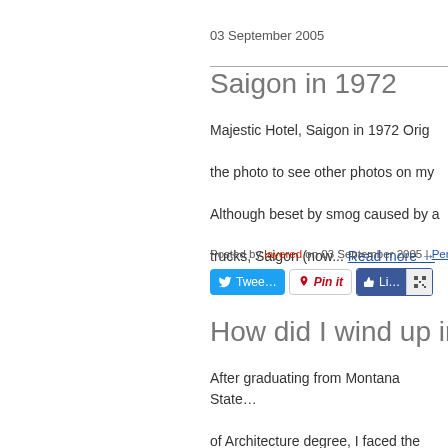03 September 2005
Saigon in 1972
Majestic Hotel, Saigon in 1972 Orig... the photo to see other photos on my ... Although beset by smog caused by a... trucks, Saigon (now... Read more →
Posted by layered on 03 September 2005 | Permalink...
How did I wind up in V...
After graduating from Montana State... of Architecture degree, I faced the dr... low draft lottery number) by enlistin...